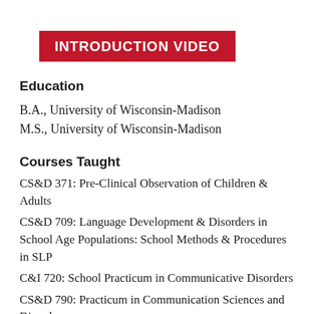INTRODUCTION VIDEO
Education
B.A., University of Wisconsin-Madison
M.S., University of Wisconsin-Madison
Courses Taught
CS&D 371: Pre-Clinical Observation of Children & Adults
CS&D 709: Language Development & Disorders in School Age Populations: School Methods & Procedures in SLP
C&I 720: School Practicum in Communicative Disorders
CS&D 790: Practicum in Communication Sciences and Disorders